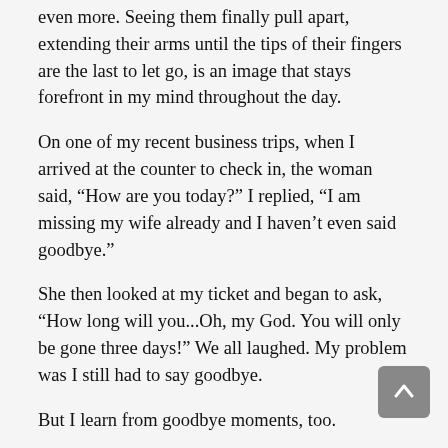even more. Seeing them finally pull apart, extending their arms until the tips of their fingers are the last to let go, is an image that stays forefront in my mind throughout the day.
On one of my recent business trips, when I arrived at the counter to check in, the woman said, “How are you today?” I replied, “I am missing my wife already and I haven’t even said goodbye.”
She then looked at my ticket and began to ask, “How long will you...Oh, my God. You will only be gone three days!” We all laughed. My problem was I still had to say goodbye.
But I learn from goodbye moments, too.
Recently I overheard a father and daughter in their last moments together. They had announced her departure and standing near the security gate, they hugged and he said, “I love you. I wish you enough.” She in turn said, “Daddy, our life together has been more than enough. Your love is all I ever needed. I wish you enough, too, Daddy.”